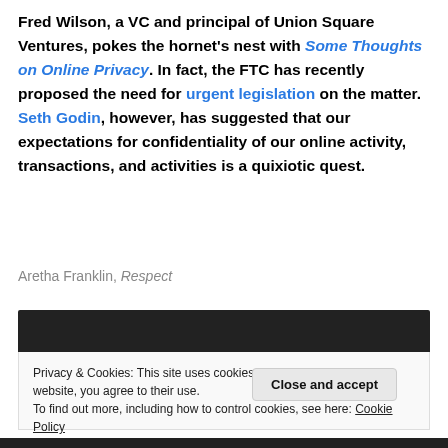Fred Wilson, a VC and principal of Union Square Ventures, pokes the hornet's nest with Some Thoughts on Online Privacy. In fact, the FTC has recently proposed the need for urgent legislation on the matter. Seth Godin, however, has suggested that our expectations for confidentiality of our online activity, transactions, and activities is a quixiotic quest.
Aretha Franklin, Respect
[Figure (other): Dark navigation bar / header bar (black rectangle)]
Privacy & Cookies: This site uses cookies. By continuing to use this website, you agree to their use.
To find out more, including how to control cookies, see here: Cookie Policy